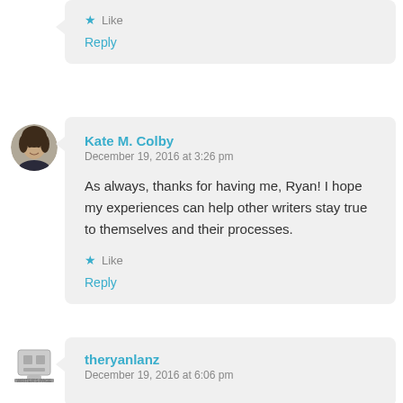Like
Reply
Kate M. Colby
December 19, 2016 at 3:26 pm

As always, thanks for having me, Ryan! I hope my experiences can help other writers stay true to themselves and their processes.

Like
Reply
theryanlanz
December 19, 2016 at 6:06 pm